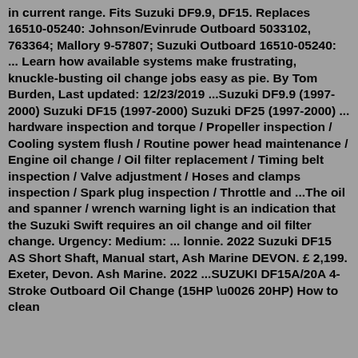in current range. Fits Suzuki DF9.9, DF15. Replaces 16510-05240: Johnson/Evinrude Outboard 5033102, 763364; Mallory 9-57807; Suzuki Outboard 16510-05240: ... Learn how available systems make frustrating, knuckle-busting oil change jobs easy as pie. By Tom Burden, Last updated: 12/23/2019 ...Suzuki DF9.9 (1997-2000) Suzuki DF15 (1997-2000) Suzuki DF25 (1997-2000) ... hardware inspection and torque / Propeller inspection / Cooling system flush / Routine power head maintenance / Engine oil change / Oil filter replacement / Timing belt inspection / Valve adjustment / Hoses and clamps inspection / Spark plug inspection / Throttle and ...The oil and spanner / wrench warning light is an indication that the Suzuki Swift requires an oil change and oil filter change. Urgency: Medium: ... lonnie. 2022 Suzuki DF15 AS Short Shaft, Manual start, Ash Marine DEVON. £ 2,199. Exeter, Devon. Ash Marine. 2022 ...SUZUKI DF15A/20A 4-Stroke Outboard Oil Change (15HP \u0026 20HP) How to clean